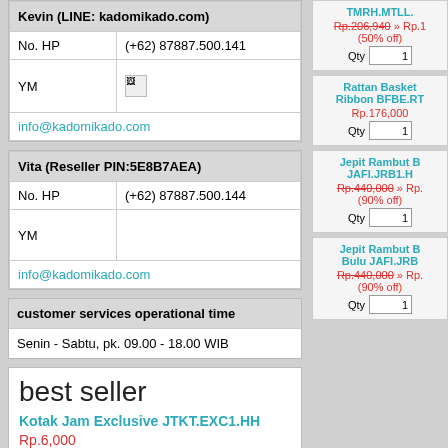| Kevin (LINE: kadomikado.com) |  |
| --- | --- |
| No. HP | (+62) 87887.500.141 |
| YM |  |
| info@kadomikado.com |  |
| Vita (Reseller PIN:5E8B7AEA) |  |
| --- | --- |
| No. HP | (+62) 87887.500.144 |
| YM |  |
| info@kadomikado.com |  |
customer services operational time
Senin - Sabtu, pk. 09.00 - 18.00 WIB
best seller
Kotak Jam Exclusive JTKT.EXC1.HH
Rp.6,000
Qty 1
TMRH.MTLL.
Rp.206,940 » Rp.1 (50% off)
Qty 1
Rattan Basket Ribbon BFBE.RT
Rp.176,000
Qty 1
Jepit Rambut B JAFI.JRB1.H
Rp.440,000 » Rp. (90% off)
Qty 1
Jepit Rambut B Bulu JAFI.JRB
Rp.440,000 » Rp. (90% off)
Qty 1